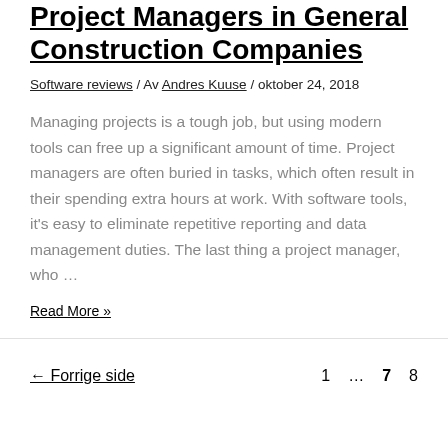Project Managers in General Construction Companies
Software reviews / Av Andres Kuuse / oktober 24, 2018
Managing projects is a tough job, but using modern tools can free up a significant amount of time. Project managers are often buried in tasks, which often result in their spending extra hours at work. With software tools, it's easy to eliminate repetitive reporting and data management duties. The last thing a project manager, who …
Read More »
← Forrige side  1  …  7  8